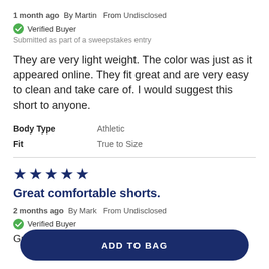1 month ago  By Martin  From Undisclosed
Verified Buyer
Submitted as part of a sweepstakes entry
They are very light weight. The color was just as it appeared online. They fit great and are very easy to clean and take care of. I would suggest this short to anyone.
| Attribute | Value |
| --- | --- |
| Body Type | Athletic |
| Fit | True to Size |
[Figure (other): Five dark navy star rating icons indicating 5-out-of-5 stars]
Great comfortable shorts.
2 months ago  By Mark  From Undisclosed
Verified Buyer
Great shorts with comfortable wrinkle free stretch
ADD TO BAG